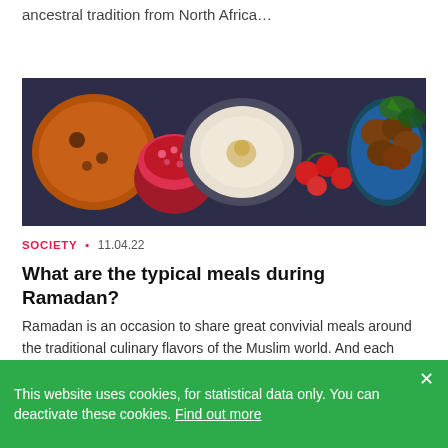ancestral tradition from North Africa…
[Figure (photo): Overhead view of Middle Eastern / North African food spread: bowls of stew, hummus with olive oil, pomegranate halves, cherry tomatoes on vine, and falafel on a blue plate with herbs]
SOCIETY • 11.04.22
What are the typical meals during Ramadan?
Ramadan is an occasion to share great convivial meals around the traditional culinary flavors of the Muslim world. And each country and region has…
[Figure (photo): Partial image at bottom of page, appears to show a person]
This website uses cookies, for statistical data only. You can deactivate these cookies. Find out more